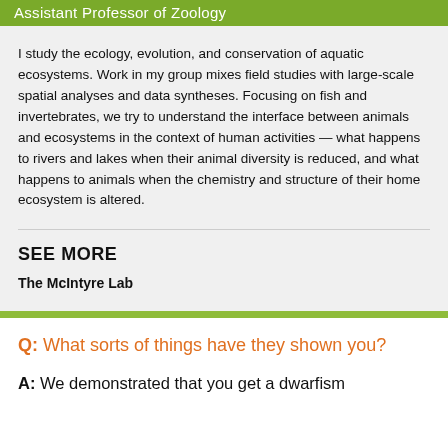Assistant Professor of Zoology
I study the ecology, evolution, and conservation of aquatic ecosystems. Work in my group mixes field studies with large-scale spatial analyses and data syntheses. Focusing on fish and invertebrates, we try to understand the interface between animals and ecosystems in the context of human activities — what happens to rivers and lakes when their animal diversity is reduced, and what happens to animals when the chemistry and structure of their home ecosystem is altered.
SEE MORE
The McIntyre Lab
Q: What sorts of things have they shown you?
A: We demonstrated that you get a dwarfism